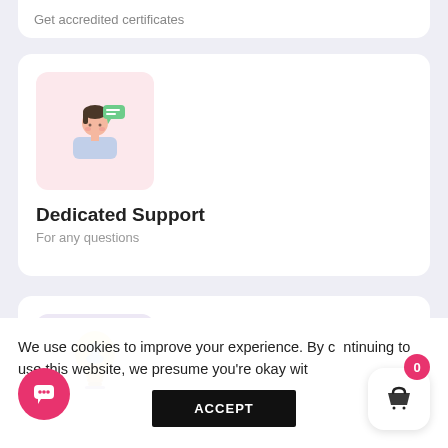Get accredited certificates
[Figure (illustration): Customer support person icon with speech bubble, on a pink background square]
Dedicated Support
For any questions
[Figure (illustration): Light bulb with a person icon inside, on a purple/lavender background square]
We use cookies to improve your experience. By continuing to use this website, we presume you're okay with
ACCEPT